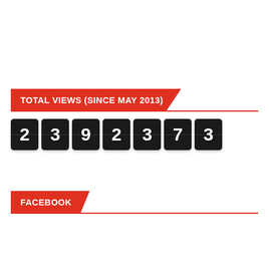TOTAL VIEWS (SINCE MAY 2013)
[Figure (infographic): Flip-counter style digit display showing the number 2392373]
FACEBOOK